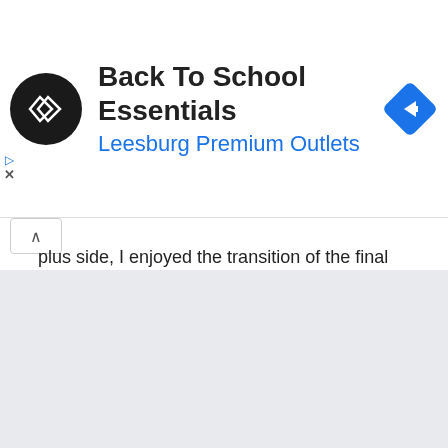[Figure (screenshot): Advertisement banner for Back To School Essentials at Leesburg Premium Outlets, with a black circular logo with white arrows, and a blue diamond navigation icon on the right.]
plus side, I enjoyed the transition of the final stages of the relay, and was fantastic to see all the performers extending out of the stadium, alot closer to the cauldron than at the Olympics. Made it feel alot more cozy and less lonely for those final torch bearers.

All round , a great effort from Sochi. Certainly put Vancouver's effort to shame.